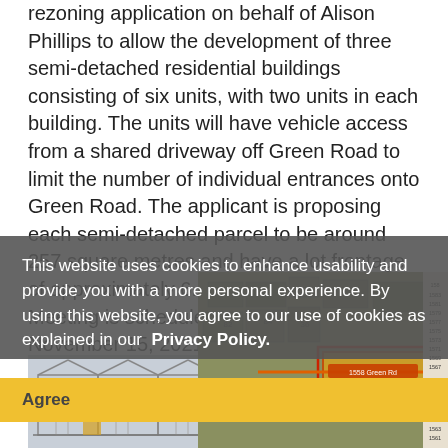rezoning application on behalf of Alison Phillips to allow the development of three semi-detached residential buildings consisting of six units, with two units in each building. The units will have vehicle access from a shared driveway off Green Road to limit the number of individual entrances onto Green Road. The applicant is proposing each semi-detached parcel to be around 257 square metres and have a lot frontage of approximately 6.3 metres. A Public Meeting is scheduled for Monday, November 15, 2021.
This website uses cookies to enhance usability and provide you with a more personal experience. By using this website, you agree to our use of cookies as explained in our Privacy Policy.
[Figure (photo): Architectural elevation drawing of semi-detached residential buildings]
[Figure (map): Aerial/cadastral map showing 1558 Green Rd property highlighted with orange/red outline]